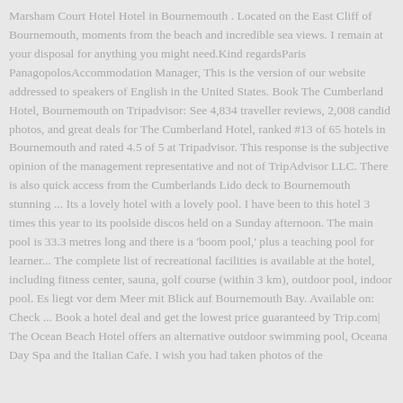Marsham Court Hotel Hotel in Bournemouth . Located on the East Cliff of Bournemouth, moments from the beach and incredible sea views. I remain at your disposal for anything you might need.Kind regardsParis PanagopolosAccommodation Manager, This is the version of our website addressed to speakers of English in the United States. Book The Cumberland Hotel, Bournemouth on Tripadvisor: See 4,834 traveller reviews, 2,008 candid photos, and great deals for The Cumberland Hotel, ranked #13 of 65 hotels in Bournemouth and rated 4.5 of 5 at Tripadvisor. This response is the subjective opinion of the management representative and not of TripAdvisor LLC. There is also quick access from the Cumberlands Lido deck to Bournemouth stunning ... Its a lovely hotel with a lovely pool. I have been to this hotel 3 times this year to its poolside discos held on a Sunday afternoon. The main pool is 33.3 metres long and there is a 'boom pool,' plus a teaching pool for learner... The complete list of recreational facilities is available at the hotel, including fitness center, sauna, golf course (within 3 km), outdoor pool, indoor pool. Es liegt vor dem Meer mit Blick auf Bournemouth Bay. Available on: Check ... Book a hotel deal and get the lowest price guaranteed by Trip.com| The Ocean Beach Hotel offers an alternative outdoor swimming pool, Oceana Day Spa and the Italian Cafe. I wish you had taken photos of the ...